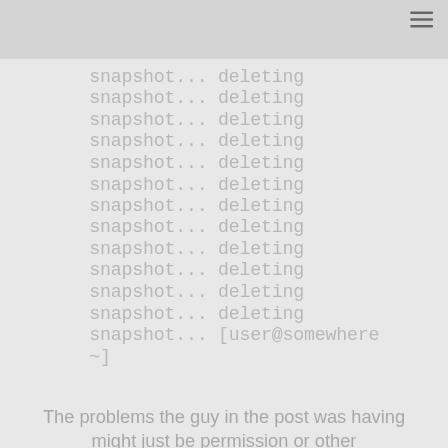[Figure (other): Navigation bar with hamburger menu icon in top right corner]
snapshot... deleting
snapshot... deleting
snapshot... deleting
snapshot... deleting
snapshot... deleting
snapshot... deleting
snapshot... deleting
snapshot... deleting
snapshot... deleting
snapshot... deleting
snapshot... deleting
snapshot... deleting
snapshot... [user@somewhere ~]
The problems the guy in the post was having might just be permission or other